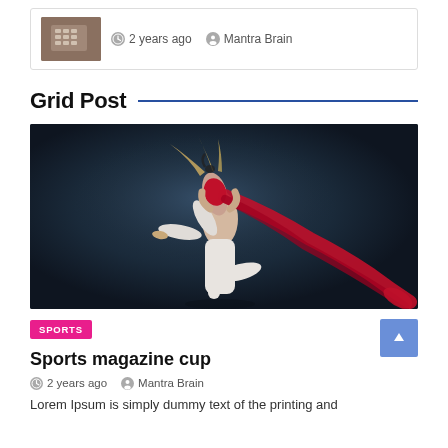[Figure (photo): Small thumbnail photo of a person using a calculator, with tattoos visible on their hands.]
2 years ago   Mantra Brain
Grid Post
[Figure (photo): Two ballet dancers performing a dramatic lift. A man in white tights lifts a woman in a red costume with flowing red fabric. Dark blue background.]
SPORTS
Sports magazine cup
2 years ago   Mantra Brain
Lorem Ipsum is simply dummy text of the printing and